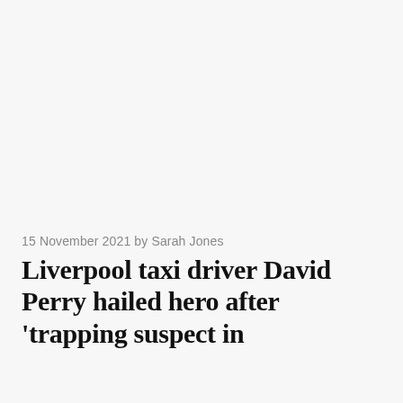15 November 2021 by Sarah Jones
Liverpool taxi driver David Perry hailed hero after 'trapping suspect in